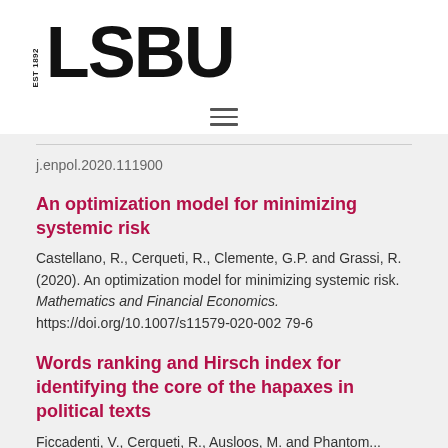[Figure (logo): LSBU logo with EST 1892 text and large bold LSBU wordmark]
[Figure (other): Hamburger menu icon with three horizontal lines]
j.enpol.2020.111900
An optimization model for minimizing systemic risk
Castellano, R., Cerqueti, R., Clemente, G.P. and Grassi, R. (2020). An optimization model for minimizing systemic risk. Mathematics and Financial Economics. https://doi.org/10.1007/s11579-020-00279-6
Words ranking and Hirsch index for identifying the core of the hapaxes in political texts
Ficcadenti, V., Cerqueti, R., Ausloos, M. and Phantom...